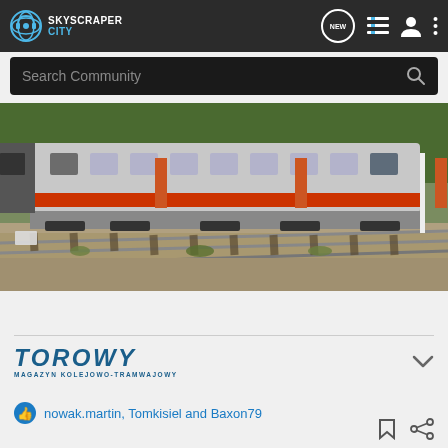SkyscraperCity — navigation bar with logo, NEW button, list icon, user icon, menu icon
Search Community
[Figure (photo): Photo of a silver and orange passenger train on railway tracks with grass and gravel in the foreground and trees in the background]
[Figure (logo): TOROWY — Magazyn Kolejowo-Tramwajowy logo in dark blue italic capital letters]
nowak.martin, Tomkisiel and Baxon79